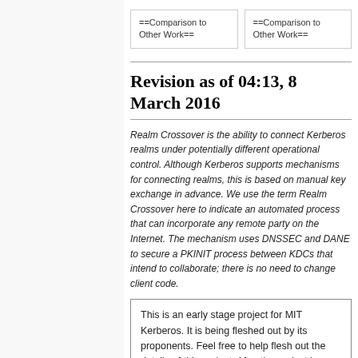[Figure (other): Two wiki-style boxes showing '==Comparison to Other Work==' section headings, side by side at the top of the main content area]
Revision as of 04:13, 8 March 2016
Realm Crossover is the ability to connect Kerberos realms under potentially different operational control. Although Kerberos supports mechanisms for connecting realms, this is based on manual key exchange in advance. We use the term Realm Crossover here to indicate an automated process that can incorporate any remote party on the Internet. The mechanism uses DNSSEC and DANE to secure a PKINIT process between KDCs that intend to collaborate; there is no need to change client code.
This is an early stage project for MIT Kerberos. It is being fleshed out by its proponents. Feel free to help flesh out the details of this project. After the project is